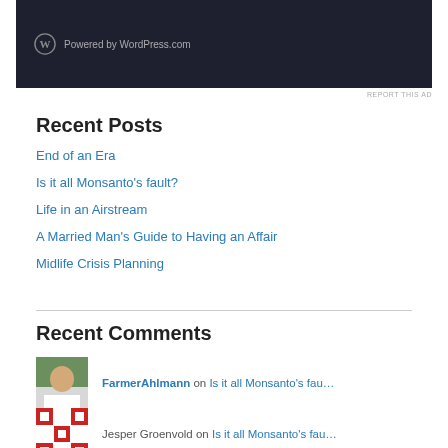[Figure (screenshot): Dark banner ad with WordPress logo and 'Powered by WordPress.com' text on dark background]
REPORT THIS AD
Recent Posts
End of an Era
Is it all Monsanto's fault?
Life in an Airstream
A Married Man's Guide to Having an Affair
Midlife Crisis Planning
Recent Comments
FarmerAhlmann on Is it all Monsanto's fau…
Jesper Groenvold on Is it all Monsanto's fau…